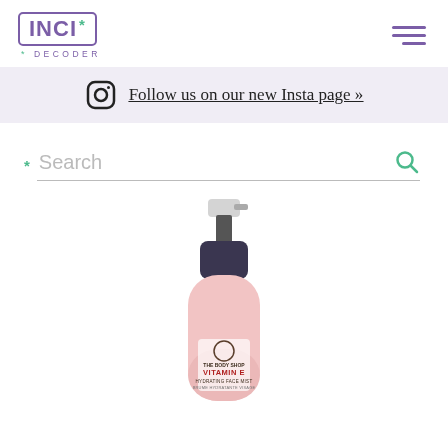[Figure (logo): INCI Decoder logo — purple square bracket box with INCI text and green asterisk, purple DECODER text below]
[Figure (other): Hamburger menu icon with three purple horizontal lines]
Follow us on our new Insta page »
Search
[Figure (photo): The Body Shop Vitamin E Hydrating Face Mist spray bottle, pink bottle with dark cap and pump sprayer]